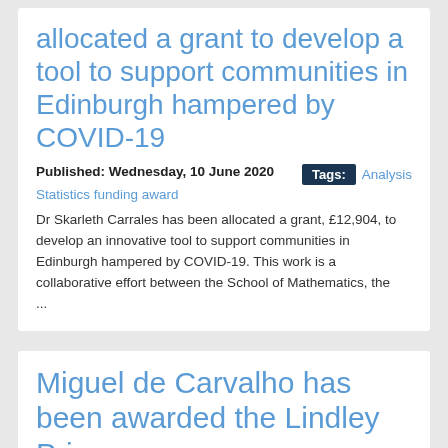allocated a grant to develop a tool to support communities in Edinburgh hampered by COVID-19
Published: Wednesday, 10 June 2020
Tags: Analysis
Statistics funding award
Dr Skarleth Carrales has been allocated a grant, £12,904, to develop an innovative tool to support communities in Edinburgh hampered by COVID-19. This work is a collaborative effort between the School of Mathematics, the ...
Miguel de Carvalho has been awarded the Lindley Prize
Published: Wednesday, 29 April 2020